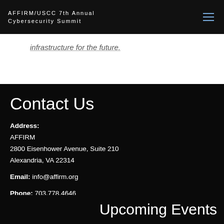AFFIRM/USCC 7th Annual Cybersecurity Summit
infrastructure for the future.
Contact Us
Address:
AFFIRM
2800 Eisenhower Avenue, Suite 210
Alexandria, VA 22314

Email: info@affirm.org

Phone: 703.778.4646
Upcoming Events